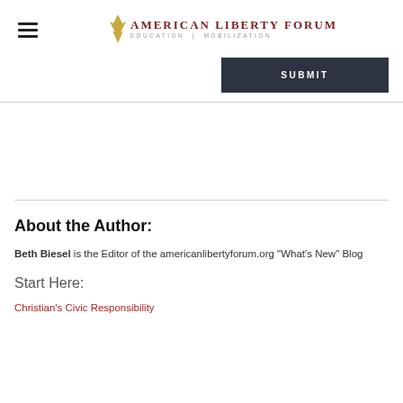American Liberty Forum — Education | Mobilization
[Figure (logo): American Liberty Forum logo with torch icon and tagline Education | Mobilization]
About the Author:
Beth Biesel is the Editor of the americanlibertyforum.org "What's New" Blog
Start Here:
Christian's Civic Responsibility